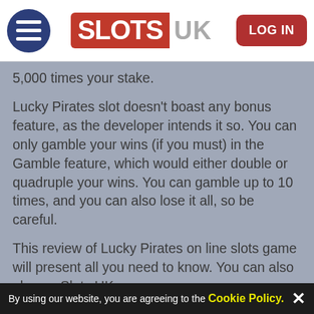[Figure (logo): Slots UK website header with hamburger menu icon, SLOTS UK logo in red and grey, and a red LOG IN button]
5,000 times your stake.
Lucky Pirates slot doesn't boast any bonus feature, as the developer intends it so. You can only gamble your wins (if you must) in the Gamble feature, which would either double or quadruple your wins. You can gamble up to 10 times, and you can also lose it all, so be careful.
This review of Lucky Pirates on line slots game will present all you need to know. You can also play on Slots UK.
Quicklinks: Lucky Irish | Irish Luck Jackpot | Irish Eyes | Cops and Robbers | Starburst | Enchanted
By using our website, you are agreeing to the Cookie Policy.